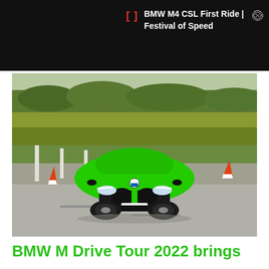[Figure (screenshot): Dark video player bar showing BMW M4 CSL First Ride | Festival of Speed with red bracket icon and close button]
[Figure (photo): Bright green BMW M3/M4 (license plate M-CF 421) driving on a circuit track with orange/white traffic cones and green hedgerow in background]
BMW M Drive Tour 2022 brings